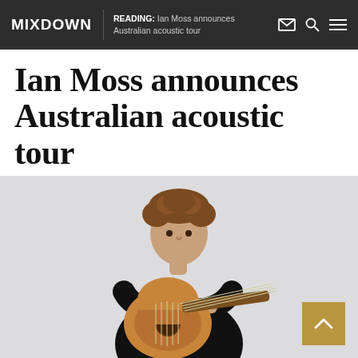MIXDOWN  READING: Ian Moss announces Australian acoustic tour
Ian Moss announces Australian acoustic tour
[Figure (photo): Ian Moss, a man with curly hair wearing a black t-shirt, seated and leaning his arms on an acoustic guitar against a light grey background.]